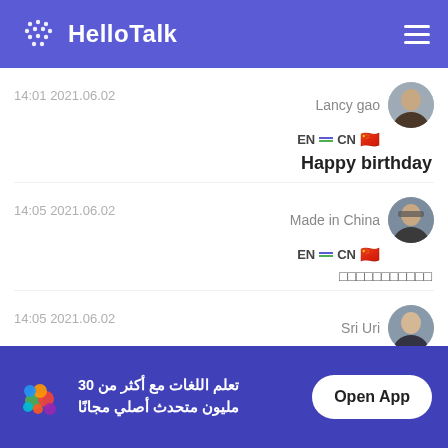[Figure (screenshot): HelloTalk app header with logo and hamburger menu on blue background]
14:01 2021.06.02
Lancy gao EN → CN
Happy birthday
14:05 2021.06.02
Made in China EN → CN
□□□□□□□□□□□
14:05 2021.06.02
Sri Uri EN → TH
□ Happy birthday
تعلم اللغات مع أكثر من 30 مليون متحدث أصلي مجانًا
Open App